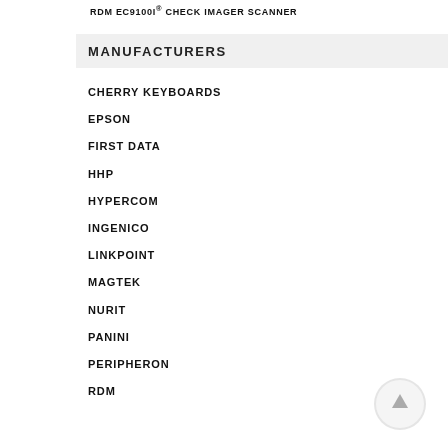RDM EC9100I® CHECK IMAGER SCANNER
MANUFACTURERS
CHERRY KEYBOARDS
EPSON
FIRST DATA
HHP
HYPERCOM
INGENICO
LINKPOINT
MAGTEK
NURIT
PANINI
PERIPHERON
RDM
[Figure (other): Circular scroll-to-top button with upward arrow icon]